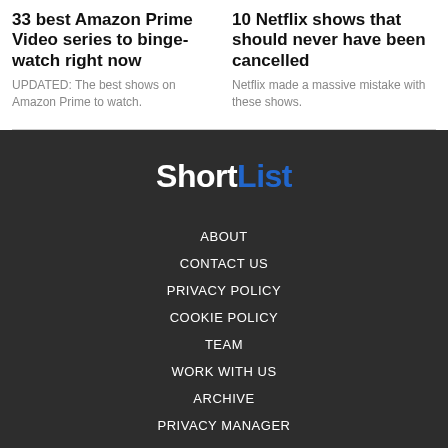33 best Amazon Prime Video series to binge-watch right now
UPDATED: The best shows on Amazon Prime to watch.
10 Netflix shows that should never have been cancelled
Netflix made a massive mistake with these shows.
[Figure (logo): ShortList logo — 'Short' in white and 'List' in blue, bold sans-serif font on dark background]
ABOUT
CONTACT US
PRIVACY POLICY
COOKIE POLICY
TEAM
WORK WITH US
ARCHIVE
PRIVACY MANAGER